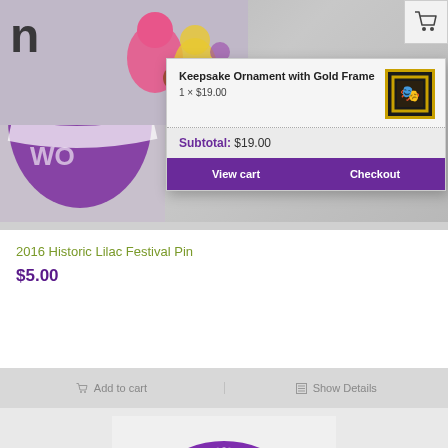[Figure (screenshot): Lilac Festival 2016 logo with purple ribbon, lilac flowers, and text '2016 Wo...' in background]
[Figure (screenshot): Cart popup overlay showing Keepsake Ornament with Gold Frame item, thumbnail of ornament, subtotal, View cart and Checkout buttons]
Keepsake Ornament with Gold Frame
1 × $19.00
Subtotal: $19.00
View cart
Checkout
2016 Historic Lilac Festival Pin
$5.00
Add to cart
Show Details
[Figure (logo): Spokane Lilac Festival circular logo with purple text and blue floral design, partially visible]